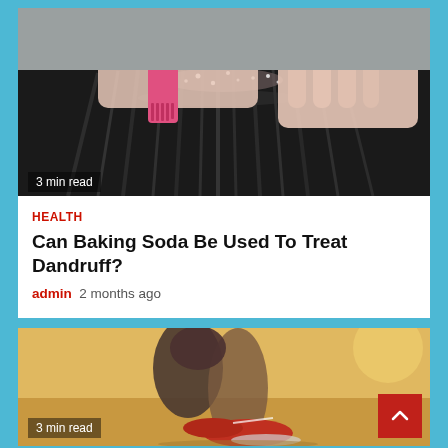[Figure (photo): Close-up of a person using a pink comb on dark hair showing dandruff flakes, with hands visible]
3 min read
HEALTH
Can Baking Soda Be Used To Treat Dandruff?
admin  2 months ago
[Figure (photo): Close-up of a runner's feet in red athletic shoes on sandy ground, action shot from low angle]
3 min read